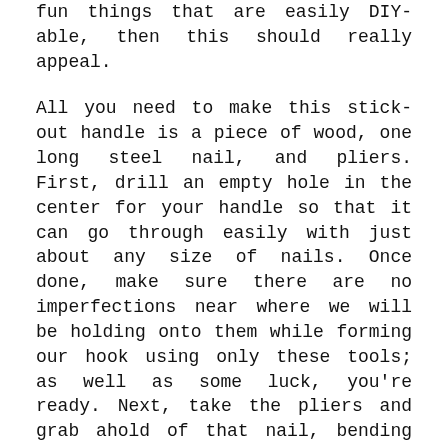fun things that are easily DIY-able, then this should really appeal.
All you need to make this stick-out handle is a piece of wood, one long steel nail, and pliers. First, drill an empty hole in the center for your handle so that it can go through easily with just about any size of nails. Once done, make sure there are no imperfections near where we will be holding onto them while forming our hook using only these tools; as well as some luck, you're ready. Next, take the pliers and grab ahold of that nail, bending it until you have formed a hook-like shape on one end, then go ahead and test out your work!